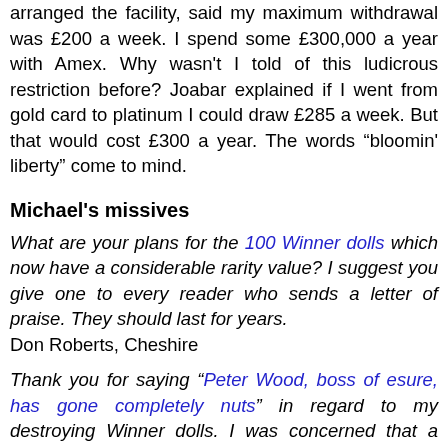arranged the facility, said my maximum withdrawal was £200 a week. I spend some £300,000 a year with Amex. Why wasn't I told of this ludicrous restriction before? Joabar explained if I went from gold card to platinum I could draw £285 a week. But that would cost £300 a year. The words "bloomin' liberty" come to mind.
Michael's missives
What are your plans for the 100 Winner dolls which now have a considerable rarity value? I suggest you give one to every reader who sends a letter of praise. They should last for years.
Don Roberts, Cheshire
Thank you for saying "Peter Wood, boss of esure, has gone completely nuts" in regard to my destroying Winner dolls. I was concerned that a piece of your cranium might choke an over-enthusiastic child. If you promise not to give them to children I could give you a few more if you're desperate.
Peter Wood CBE, Reigate
The impossible has happened. You were photographed last week with someone worse dressed than yourself.